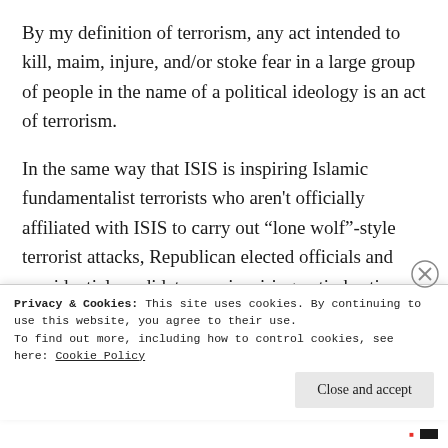By my definition of terrorism, any act intended to kill, maim, injure, and/or stoke fear in a large group of people in the name of a political ideology is an act of terrorism.
In the same way that ISIS is inspiring Islamic fundamentalist terrorists who aren't officially affiliated with ISIS to carry out “lone wolf”-style terrorist attacks, Republican elected officials and presidential candidates are inspiring anti-abortion terrorists to carry out “lone wolf”-style attacks at women's health clinics right here in America. In fact, it’s not proper to call these types of
Privacy & Cookies: This site uses cookies. By continuing to use this website, you agree to their use.
To find out more, including how to control cookies, see here: Cookie Policy
Close and accept